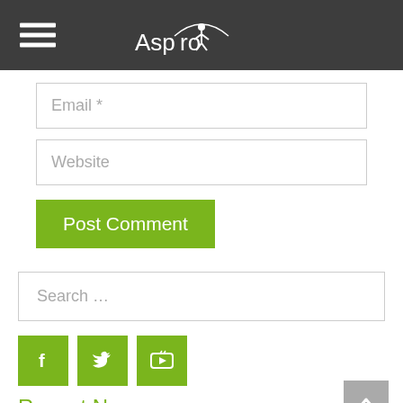[Figure (logo): Aspyro logo with hamburger menu icon on dark gray header bar]
Email *
Website
Post Comment
Search ...
[Figure (infographic): Social media icons: Facebook, Twitter, YouTube in green squares]
Recent News